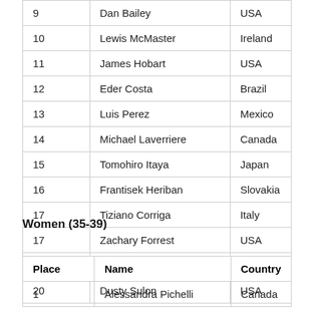| 9 | Dan Bailey | USA |
| 10 | Lewis McMaster | Ireland |
| 11 | James Hobart | USA |
| 12 | Eder Costa | Brazil |
| 13 | Luis Perez | Mexico |
| 14 | Michael Laverriere | Canada |
| 15 | Tomohiro Itaya | Japan |
| 16 | Frantisek Heriban | Slovakia |
| 17 | Tiziano Corriga | Italy |
| 17 | Zachary Forrest | USA |
| 19 | Ryan Woodall | Australia |
| 20 | Dusty Sulon | USA |
Women (35-39)
| Place | Name | Country |
| --- | --- | --- |
| 1 | Alessandra Pichelli | Canada |